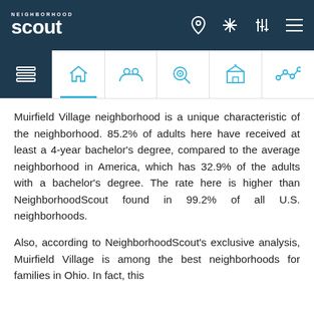NeighborhoodScout navigation bar with logo and icons
Muirfield Village neighborhood is a unique characteristic of the neighborhood. 85.2% of adults here have received at least a 4-year bachelor's degree, compared to the average neighborhood in America, which has 32.9% of the adults with a bachelor's degree. The rate here is higher than NeighborhoodScout found in 99.2% of all U.S. neighborhoods.
Also, according to NeighborhoodScout's exclusive analysis, Muirfield Village is among the best neighborhoods for families in Ohio. In fact, this